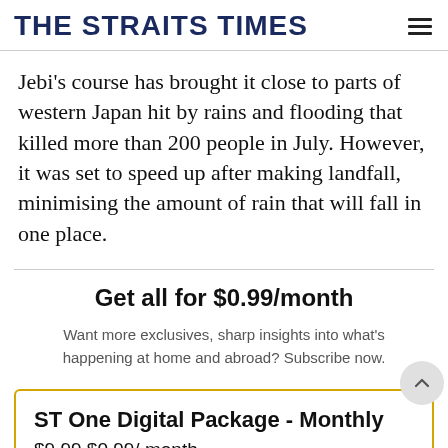THE STRAITS TIMES
Jebi's course has brought it close to parts of western Japan hit by rains and flooding that killed more than 200 people in July. However, it was set to speed up after making landfall, minimising the amount of rain that will fall in one place.
Get all for $0.99/month
Want more exclusives, sharp insights into what's happening at home and abroad? Subscribe now.
ST One Digital Package - Monthly
$0.99 $9.99/month